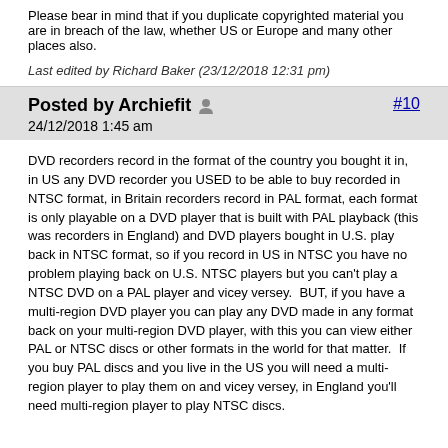Please bear in mind that if you duplicate copyrighted material you are in breach of the law, whether US or Europe and many other places also.
Last edited by Richard Baker (23/12/2018 12:31 pm)
Posted by Archiefit  #10
24/12/2018 1:45 am
DVD recorders record in the format of the country you bought it in, in US any DVD recorder you USED to be able to buy recorded in NTSC format, in Britain recorders record in PAL format, each format is only playable on a DVD player that is built with PAL playback (this was recorders in England) and DVD players bought in U.S. play back in NTSC format, so if you record in US in NTSC you have no problem playing back on U.S. NTSC players but you can't play a NTSC DVD on a PAL player and vicey versey.  BUT, if you have a multi-region DVD player you can play any DVD made in any format back on your multi-region DVD player, with this you can view either PAL or NTSC discs or other formats in the world for that matter.  If you buy PAL discs and you live in the US you will need a multi-region player to play them on and vicey versey, in England you'll need multi-region player to play NTSC discs.